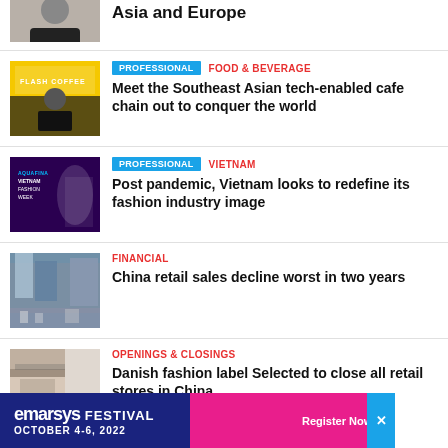[Figure (photo): Partial view of a person in black wearing a necklace]
Asia and Europe
[Figure (photo): Man in black shirt standing in front of Flash Coffee store with yellow signage]
PROFESSIONAL  FOOD & BEVERAGE
Meet the Southeast Asian tech-enabled cafe chain out to conquer the world
[Figure (photo): Aquafina Vietnam Fashion Week event with model in white dress]
PROFESSIONAL  VIETNAM
Post pandemic, Vietnam looks to redefine its fashion industry image
[Figure (photo): Busy street scene in China with billboards and pedestrians]
FINANCIAL
China retail sales decline worst in two years
[Figure (photo): Corner building of a Danish fashion retail store]
OPENINGS & CLOSINGS
Danish fashion label Selected to close all retail stores in China
[Figure (infographic): Emarsys Festival banner - October 4-6, 2022 with Register Now button]